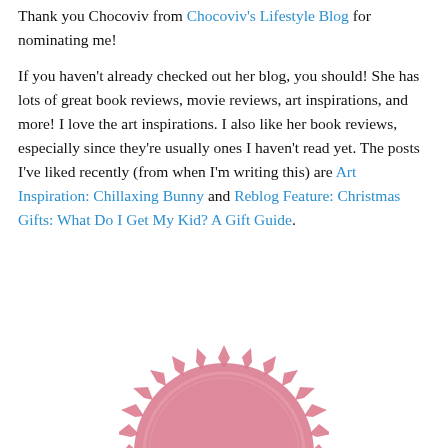Thank you Chocoviv from Chocoviv's Lifestyle Blog for nominating me!
If you haven't already checked out her blog, you should! She has lots of great book reviews, movie reviews, art inspirations, and more! I love the art inspirations. I also like her book reviews, especially since they're usually ones I haven't read yet. The posts I've liked recently (from when I'm writing this) are Art Inspiration: Chillaxing Bunny and Reblog Feature: Christmas Gifts: What Do I Get My Kid? A Gift Guide.
[Figure (illustration): Partially visible pink/rose-colored circular badge or seal with jagged/starburst edge and the letters 'STED' visible at the bottom, suggesting a 'SUGGESTED' or 'TRUSTED' stamp graphic]